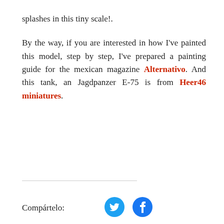splashes in this tiny scale!.
By the way, if you are interested in how I've painted this model, step by step, I've prepared a painting guide for the mexican magazine Alternativo. And this tank, an Jagdpanzer E-75 is from Heer46 miniatures.
Compártelo: